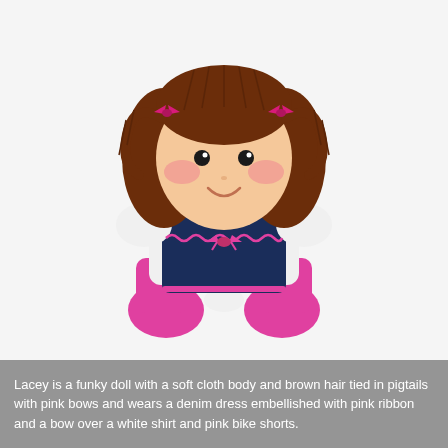[Figure (photo): A rag doll named Lacey sitting upright against a white background. The doll has brown yarn hair tied in pigtails with pink bows, a soft fabric face with rosy cheeks and a smile, black button eyes. She wears a white short-sleeved shirt under a navy/denim sleeveless dress decorated with pink ric-rac trim and a pink bow at the waist, and pink bike shorts visible beneath the dress. She has white socks and bright pink stuffed legs/feet.]
Lacey is a funky doll with a soft cloth body and brown hair tied in pigtails with pink bows and wears a denim dress embellished with pink ribbon and a bow over a white shirt and pink bike shorts.